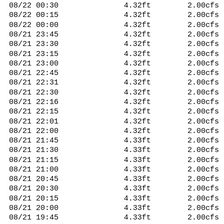| 08/22 00:30 | 4.32ft | 2.00cfs |
| 08/22 00:15 | 4.32ft | 2.00cfs |
| 08/22 00:00 | 4.32ft | 2.00cfs |
| 08/21 23:45 | 4.32ft | 2.00cfs |
| 08/21 23:30 | 4.32ft | 2.00cfs |
| 08/21 23:15 | 4.32ft | 2.00cfs |
| 08/21 23:00 | 4.32ft | 2.00cfs |
| 08/21 22:45 | 4.32ft | 2.00cfs |
| 08/21 22:31 | 4.32ft | 2.00cfs |
| 08/21 22:30 | 4.32ft | 2.00cfs |
| 08/21 22:16 | 4.32ft | 2.00cfs |
| 08/21 22:15 | 4.32ft | 2.00cfs |
| 08/21 22:01 | 4.32ft | 2.00cfs |
| 08/21 22:00 | 4.32ft | 2.00cfs |
| 08/21 21:45 | 4.33ft | 2.00cfs |
| 08/21 21:30 | 4.33ft | 2.00cfs |
| 08/21 21:15 | 4.33ft | 2.00cfs |
| 08/21 21:00 | 4.33ft | 2.00cfs |
| 08/21 20:45 | 4.33ft | 2.00cfs |
| 08/21 20:30 | 4.33ft | 2.00cfs |
| 08/21 20:15 | 4.33ft | 2.00cfs |
| 08/21 20:00 | 4.33ft | 2.00cfs |
| 08/21 19:45 | 4.33ft | 2.00cfs |
| 08/21 19:30 | 4.33ft | 2.00cfs |